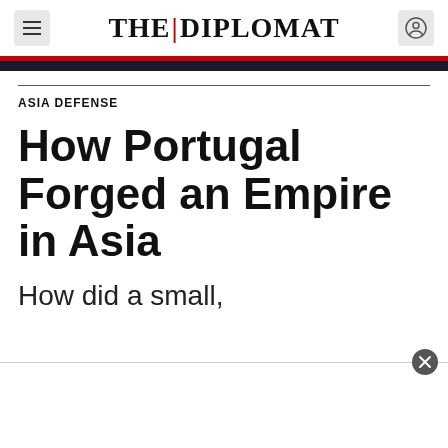THE|DIPLOMAT
ASIA DEFENSE
How Portugal Forged an Empire in Asia
How did a small,